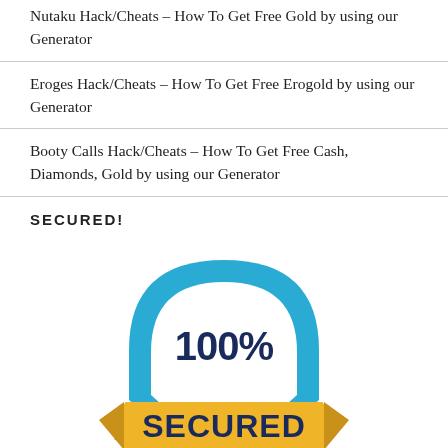Nutaku Hack/Cheats – How To Get Free Gold by using our Generator
Eroges Hack/Cheats – How To Get Free Erogold by using our Generator
Booty Calls Hack/Cheats – How To Get Free Cash, Diamonds, Gold by using our Generator
SECURED!
[Figure (illustration): A badge/shield graphic with '100%' in large bold dark blue text and 'SECURED' in large bold dark blue text on a golden ribbon banner, with a blue shield/lock shape behind, on white background.]